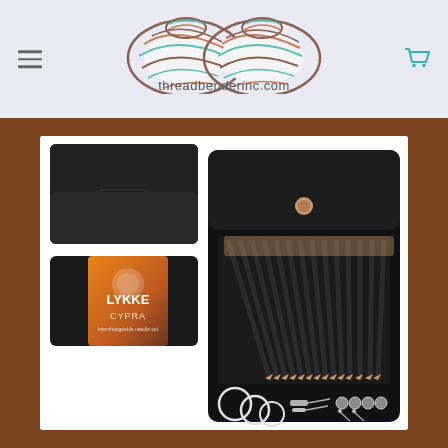[Figure (logo): Threadbender Inc logo: two stylized yarn skeins drawn with teal, pink, and brown lines on a light blue-grey background, with the text 'threadbenderinc.com' below]
[Figure (photo): Product photo of LYKKE CYPRA interchangeable knitting needle set. Shows an open black fabric case with multiple bamboo/wooden needle tips arranged in slots, plus cables, connectors and accessories. Also shows the closed case (top) and the product packaging box labeled 'LYKKE CYPRA' with a gradient orange/brown design, all on a warm brown background.]